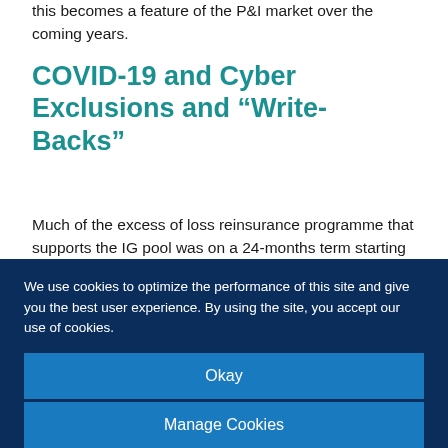this becomes a feature of the P&I market over the coming years.
COVID-19 and Cyber Exclusions and “Write-Backs”
Much of the excess of loss reinsurance programme that supports the IG pool was on a 24-months term starting 20 February 2020. Given that timing, the clubs did not need to take account of the COVID-19 and malicious cyber exclusions that has been a feature of the reinsurance market for
We use cookies to optimize the performance of this site and give you the best user experience. By using the site, you accept our use of cookies.
Okay
Manage Cookies